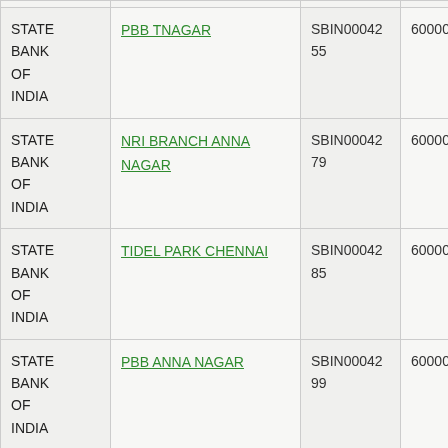| Bank | Branch | IFSC | PIN |
| --- | --- | --- | --- |
| STATE BANK OF INDIA | PBB TNAGAR | SBIN0004255 | 600002104 |
| STATE BANK OF INDIA | NRI BRANCH ANNA NAGAR | SBIN0004279 | 600002106 |
| STATE BANK OF INDIA | TIDEL PARK CHENNAI | SBIN0004285 | 600002105 |
| STATE BANK OF INDIA | PBB ANNA NAGAR | SBIN0004299 | 600002107 |